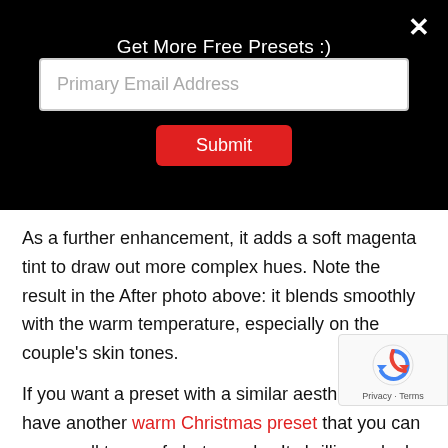Get More Free Presets :)
[Figure (screenshot): Email input field with placeholder text 'Primary Email Address']
Submit
As a further enhancement, it adds a soft magenta tint to draw out more complex hues. Note the result in the After photo above: it blends smoothly with the warm temperature, especially on the couple’s skin tones.
If you want a preset with a similar aesthetic, we have another warm Christmas preset that you can use on all types of photography. Its brilliance looks great on both indoor and outdoor shots. It is even great on portra…
Moderates Tones for a Light and